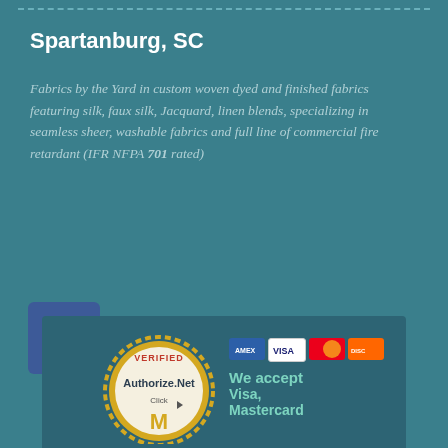Spartanburg, SC
Fabrics by the Yard in custom woven dyed and finished fabrics featuring silk, faux silk, Jacquard, linen blends, specializing in seamless sheer, washable fabrics and full line of commercial fire retardant (IFR NFPA 701 rated)
[Figure (logo): Facebook 'Like us on Facebook' widget with blue Facebook icon]
[Figure (logo): Authorize.Net Verified badge and credit card payment icons with text 'We accept Visa, Mastercard']